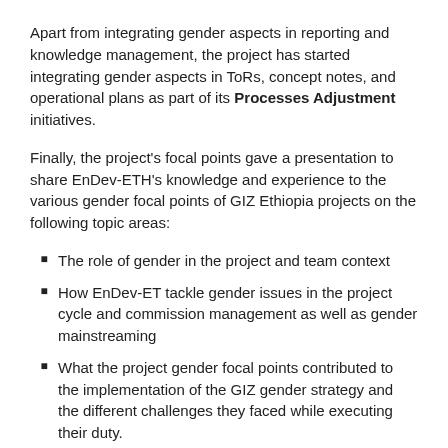Apart from integrating gender aspects in reporting and knowledge management, the project has started integrating gender aspects in ToRs, concept notes, and operational plans as part of its Processes Adjustment initiatives.
Finally, the project's focal points gave a presentation to share EnDev-ETH's knowledge and experience to the various gender focal points of GIZ Ethiopia projects on the following topic areas:
The role of gender in the project and team context
How EnDev-ET tackle gender issues in the project cycle and commission management as well as gender mainstreaming
What the project gender focal points contributed to the implementation of the GIZ gender strategy and the different challenges they faced while executing their duty.
Best practices, examples of interventions, discussion of internal and external challenges
Within their eight months of engagement, the project's focal points through the execution of some of the activities mentioned hereinabove were able to sensitize the project's workforce towards